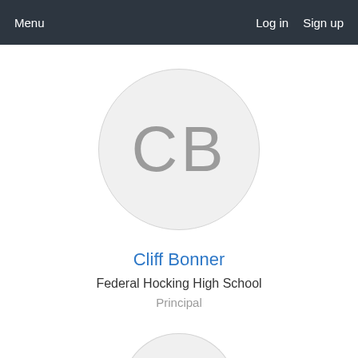Menu   Log in   Sign up
[Figure (illustration): Circular avatar placeholder with initials CB in gray on light gray background]
Cliff Bonner
Federal Hocking High School
Principal
[Figure (illustration): Partially visible circular avatar placeholder at the bottom of the page]